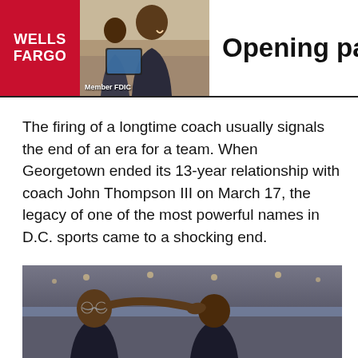[Figure (photo): Wells Fargo advertisement banner with red logo on left, photo of woman and child in center, and text 'Opening pathw' on right]
The firing of a longtime coach usually signals the end of an era for a team. When Georgetown ended its 13-year relationship with coach John Thompson III on March 17, the legacy of one of the most powerful names in D.C. sports came to a shocking end.
[Figure (photo): Photo of two men at a basketball arena with crowd in background, one man placing hand on another's head]